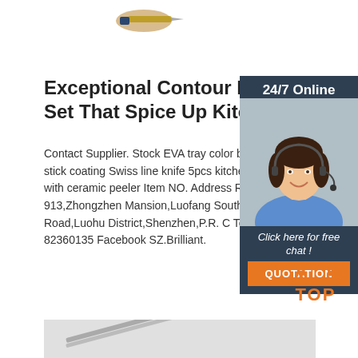[Figure (photo): Partial product image of a knife set at the top of the page]
Exceptional Contour Pro Knife Set That Spice Up Kitchens
Contact Supplier. Stock EVA tray color box b stick coating Swiss line knife 5pcs kitchen kn with ceramic peeler Item NO. Address Room 913,Zhongzhen Mansion,Luofang Southern Road,Luohu District,Shenzhen,P.R. C Tel: 00 82360135 Facebook SZ.Brilliant.
[Figure (infographic): 24/7 Online chat widget with agent photo, 'Click here for free chat!' text, and orange QUOTATION button on dark navy background]
[Figure (other): Orange TOP button with dot arc above it]
[Figure (photo): Bottom strip showing partial image of a knife/product]